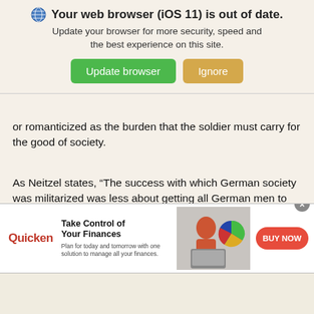[Figure (screenshot): Browser update notification banner with globe icon, bold title 'Your web browser (iOS 11) is out of date.', subtitle text, green 'Update browser' button and tan 'Ignore' button]
or romanticized as the burden that the soldier must carry for the good of society.
As Neitzel states, “The success with which German society was militarized was less about getting all German men to support the war than about producing a framework within which they shared or at least did not question military value systems” (Soldaten 35).
[Figure (screenshot): Quicken advertisement banner: Quicken logo in red, headline 'Take Control of Your Finances', body text 'Plan for today and tomorrow with one solution to manage all your finances.', image of woman at laptop with pie chart graphic, red 'BUY NOW' button, close X button]